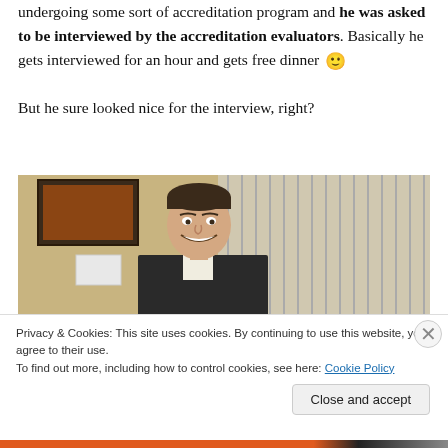undergoing some sort of accreditation program and he was asked to be interviewed by the accreditation evaluators. Basically he gets interviewed for an hour and gets free dinner 🙂
But he sure looked nice for the interview, right?
[Figure (photo): A man in a dark suit smiling, standing in front of vertical blinds with a candle holder visible behind him and a framed picture on the wall.]
Privacy & Cookies: This site uses cookies. By continuing to use this website, you agree to their use.
To find out more, including how to control cookies, see here: Cookie Policy
Close and accept